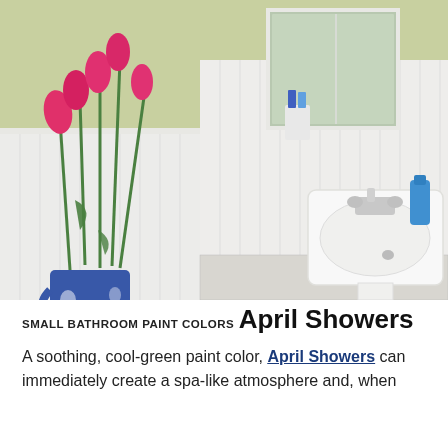[Figure (photo): A bright white bathroom with a pedestal sink, chrome faucets, beadboard wainscoting, white toilet with light blue towels folded on top, a blue and white floral vase with pink tulips, a medicine cabinet mirror, and a blue bottle of soap. The upper walls are painted a soft green color. The floor has small white hexagonal tiles.]
SMALL BATHROOM PAINT COLORS
April Showers
A soothing, cool-green paint color, April Showers can immediately create a spa-like atmosphere and, when